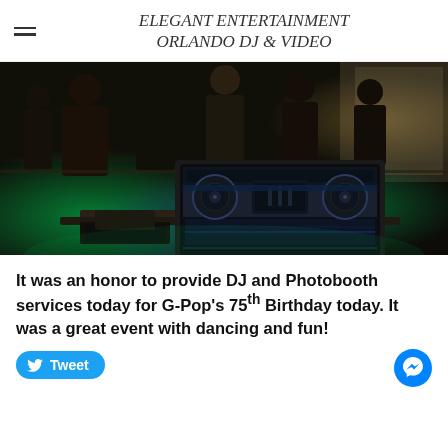ELEGANT ENTERTAINMENT ORLANDO DJ & VIDEO
[Figure (photo): Indoor party/event photo showing people dancing in a dimly lit venue with green ambient lighting. In the foreground is a laptop running DJ software with a mixer/controller visible on the screen. People are silhouetted in the background.]
It was an honor to provide DJ and Photobooth services today for G-Pop's 75th Birthday today. It was a great event with dancing and fun!